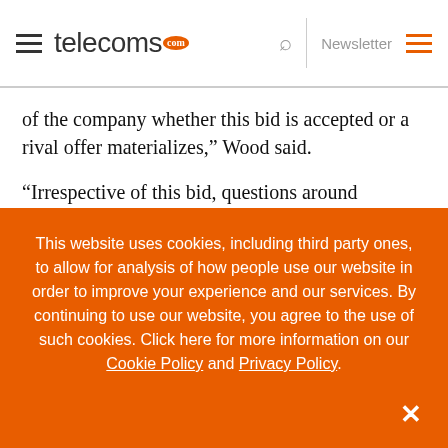telecoms.com | Newsletter
of the company whether this bid is accepted or a rival offer materializes,” Wood said.
“Irrespective of this bid, questions around BlackBerry’s future remain unchanged. It seems unlikely it can continue as it is and while the most attractive option is to focus on business users, tough decisions will need to be made about which parts of the business to persevere with and which pieces to spin off or
This website uses cookies, including third party ones, to allow for analysis of how people use our website in order to improve your experience and our services. By continuing to use our website, you agree to the use of such cookies. Click here for more information on our Cookie Policy and Privacy Policy.